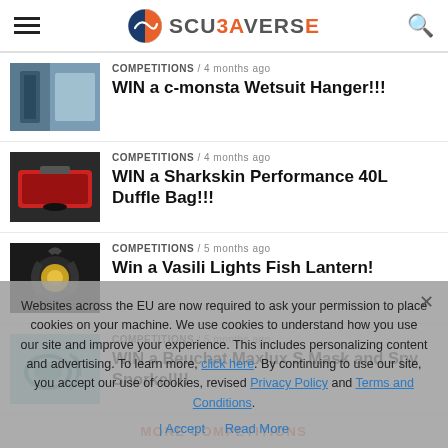SCUBAVERSE
COMPETITIONS / 4 months ago
WIN a c-monsta Wetsuit Hanger!!!
COMPETITIONS / 4 months ago
WIN a Sharkskin Performance 40L Duffle Bag!!!
COMPETITIONS / 5 months ago
Win a Vasili Lights Fish Lantern!
COMPETITIONS / 5 months ago
WIN a Beuchat Maxlux S Mask and Spy Snorkel!!!
MORE COMPETITIONS
Websites across the EU are now required to ask your permission to place cookies on your machine. We use cookies to understand how you use our site and improve your experience. This includes personalizing content and advertising. To learn more, click here. By continuing to use our site, you accept our use of cookies, revised Privacy Policy and Terms and Conditions.
| Accept   Read More